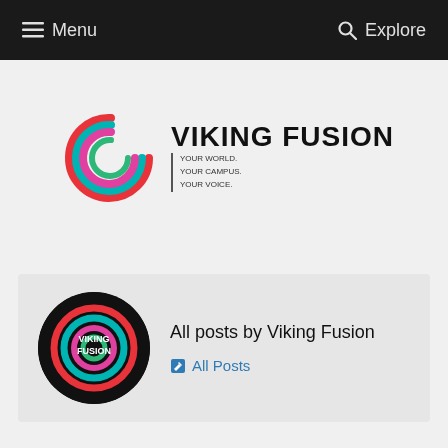Menu   Explore
[Figure (logo): Viking Fusion logo with colorful spiral arc and text: VIKING FUSION | YOUR WORLD. YOUR CAMPUS. YOUR VOICE.]
All posts by Viking Fusion
All Posts